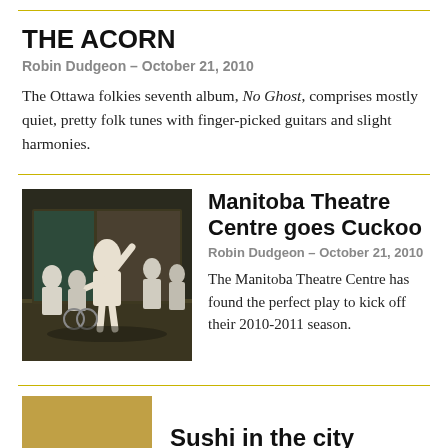THE ACORN
Robin Dudgeon – October 21, 2010
The Ottawa folkies seventh album, No Ghost, comprises mostly quiet, pretty folk tunes with finger-picked guitars and slight harmonies.
[Figure (photo): Theatre scene with actors on stage in white costumes, one with arm raised]
Manitoba Theatre Centre goes Cuckoo
Robin Dudgeon – October 21, 2010
The Manitoba Theatre Centre has found the perfect play to kick off their 2010-2011 season.
Sushi in the city